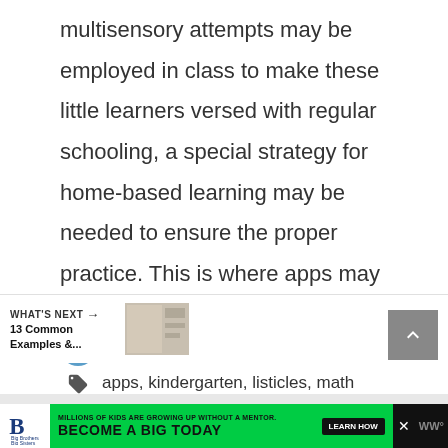multisensory attempts may be employed in class to make these little learners versed with regular schooling, a special strategy for home-based learning may be needed to ensure the proper practice. This is where apps may come in handy for subjects like ... Read more
Apps & Games, articles, Tools & Resources
apps, kindergarten, listicles, math resources, schoolers
Leave a comment
WHAT'S NEXT → 13 Common Examples &...
MILLIONS OF KIDS ARE GROWING UP WITHOUT A MENTOR. BECOME A BIG TODAY Learn How